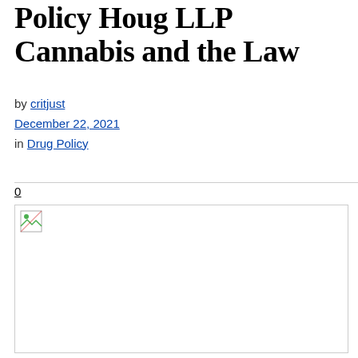Policy Houg LLP Cannabis and the Law
by critjust
December 22, 2021
in Drug Policy
0
[Figure (other): Broken image placeholder]